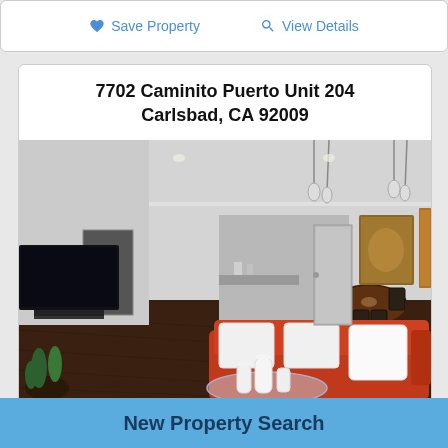Save Property   View Details
7702 Caminito Puerto Unit 204
Carlsbad, CA 92009
[Figure (photo): Interior photo of a living room with dark hardwood floors, red leather sofa with white pillows, glass coffee table with white vases, large TV on the left, dining table with chairs in the background, pendant lights, and artwork on the right wall.]
New Property Search